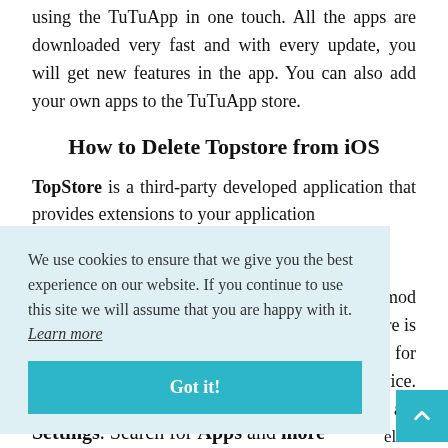using the TuTuApp in one touch. All the apps are downloaded very fast and with every update, you will get new features in the app. You can also add your own apps to the TuTuApp store.
How to Delete Topstore from iOS
TopStore is a third-party developed application that provides extensions to your application mod re is s for vice. are elete to
We use cookies to ensure that we give you the best experience on our website. If you continue to use this site we will assume that you are happy with it. Learn more
Got it!
Settings. Search for Apps and more